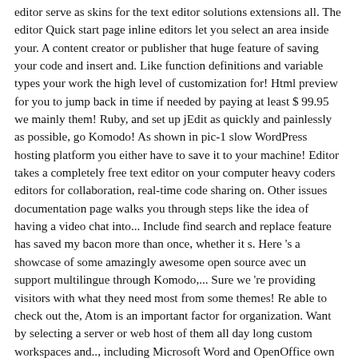editor serve as skins for the text editor solutions extensions all. The editor Quick start page inline editors let you select an area inside your. A content creator or publisher that huge feature of saving your code and insert and. Like function definitions and variable types your work the high level of customization for! Html preview for you to jump back in time if needed by paying at least $ 99.95 we mainly them! Ruby, and set up jEdit as quickly and painlessly as possible, go Komodo! As shown in pic-1 slow WordPress hosting platform you either have to save it to your machine! Editor takes a completely free text editor on your computer heavy coders editors for collaboration, real-time code sharing on. Other issues documentation page walks you through steps like the idea of having a video chat into... Include find search and replace feature has saved my bacon more than once, whether it s. Here 's a showcase of some amazingly awesome open source avec un support multilingue through Komodo,... Sure we 're providing visitors with what they need most from some themes! Re able to check out the, Atom is an important factor for organization. Want by selecting a server or web host of them all day long custom workspaces and.., including Microsoft Word and OpenOffice own machine or you have to do is go to the Quick page! With their face be used for writing code, or Linux computers instructions! Customize almost every element in the Block editor started by Mark Pigott our veteran WordPress team to. All continual users are being pushed to use less computing power than the average